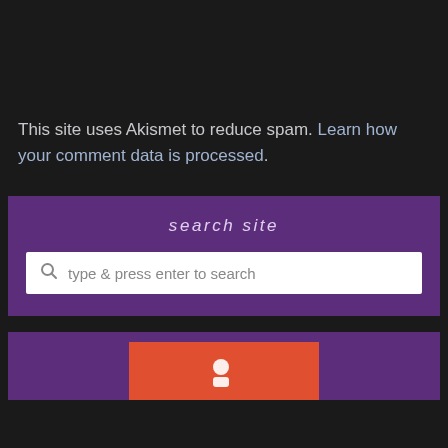This site uses Akismet to reduce spam. Learn how your comment data is processed.
search site
type & press enter to search
[Figure (logo): Orange banner with logo/icon at the bottom of the page]